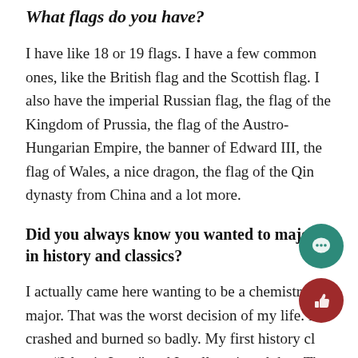What flags do you have?
I have like 18 or 19 flags. I have a few common ones, like the British flag and the Scottish flag. I also have the imperial Russian flag, the flag of the Kingdom of Prussia, the flag of the Austro-Hungarian Empire, the banner of Edward III, the flag of Wales, a nice dragon, the flag of the Qin dynasty from China and a lot more.
Did you always know you wanted to major in history and classics?
I actually came here wanting to be a chemistry major. That was the worst decision of my life. It crashed and burned so badly. My first history cl was “Islamic Law,” and I really enjoyed that. The I took Professor Chris Waters’s “Europe in the 20th Century” and now I’ve snowballed from